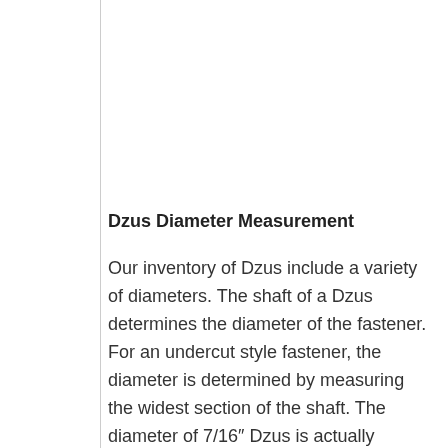Dzus Diameter Measurement
Our inventory of Dzus include a variety of diameters. The shaft of a Dzus determines the diameter of the fastener. For an undercut style fastener, the diameter is determined by measuring the widest section of the shaft. The diameter of 7/16″ Dzus is actually